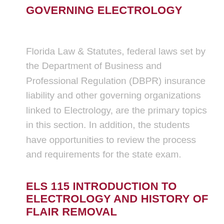GOVERNING ELECTROLOGY
Florida Law & Statutes, federal laws set by the Department of Business and Professional Regulation (DBPR) insurance liability and other governing organizations linked to Electrology, are the primary topics in this section. In addition, the students have opportunities to review the process and requirements for the state exam.
ELS 115 INTRODUCTION TO ELECTROLOGY AND HISTORY OF FLAIR REMOVAL